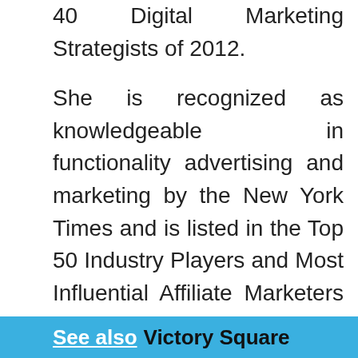40 Digital Marketing Strategists of 2012.
She is recognized as knowledgeable in functionality advertising and marketing by the New York Times and is listed in the Top 50 Industry Players and Most Influential Affiliate Marketers of 2018. In 2009, Sarah centered and presently leads All Inclusive Marketing AIM, an award winning functionality advertising and marketing agency known for providing creative, event driven effects. In 2018, AIM won the Global Excellence Award in Performance Marketing at the PMA Awards in London, achieving attention for setting the common of excellence in associates program control around the globe.
See also  Victory Square